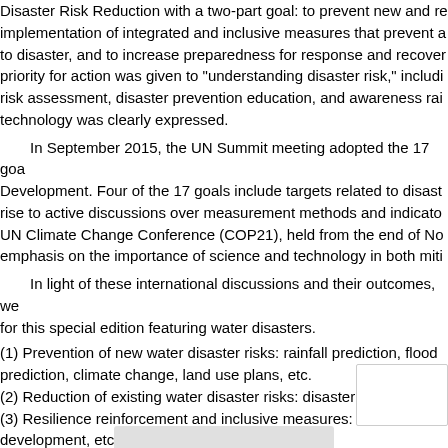Disaster Risk Reduction with a two-part goal: to prevent new and reduce existing risks through the implementation of integrated and inclusive measures that prevent and reduce hazard exposure and vulnerability to disaster, and to increase preparedness for response and recovery. Among the four priorities, priority for action was given to "understanding disaster risk," including multi-hazard disaster risk assessment, disaster prevention education, and awareness raising. The importance of science and technology was clearly expressed.
In September 2015, the UN Summit meeting adopted the 17 goals for Sustainable Development. Four of the 17 goals include targets related to disaster risk reduction, giving rise to active discussions over measurement methods and indicators. In the same year, the UN Climate Change Conference (COP21), held from the end of November, placed great emphasis on the importance of science and technology in both mitigation and adaptation.
In light of these international discussions and their outcomes, we selected three themes for this special edition featuring water disasters.
(1) Prevention of new water disaster risks: rainfall prediction, flood prediction, climate change, land use plans, etc.
(2) Reduction of existing water disaster risks: disaster data and statistics, etc.
(3) Resilience reinforcement and inclusive measures: disaster recovery, community development, etc.
Nineteen papers were applied to this special issue. All papers were reviewed and seven are included herein. We received invaluable comments and suggestions from researchers in various fields from many experts in Japan and overseas. We would like to express our gratitude.